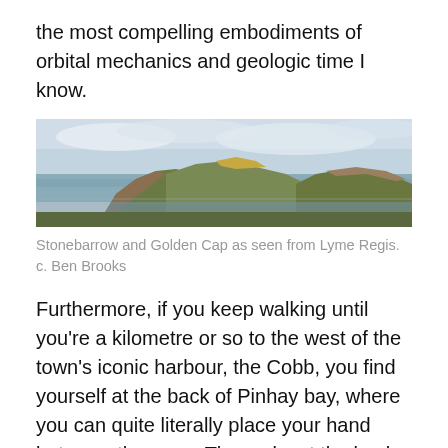the most compelling embodiments of orbital mechanics and geologic time I know.
[Figure (photo): Panoramic photograph of Stonebarrow and Golden Cap headlands as seen from Lyme Regis, showing rocky cliffs and hills rising above the sea under a cloudy sky.]
Stonebarrow and Golden Cap as seen from Lyme Regis. c. Ben Brooks
Furthermore, if you keep walking until you're a kilometre or so to the west of the town's iconic harbour, the Cobb, you find yourself at the back of Pinhay bay, where you can quite literally place your hand between the ages. The rocks at the back of the bay representing the end of the Triassic period and the beginning of the Jurassic can be accessed during any low tide.
All in all the beaches of Lyme Regis provide a fantastic